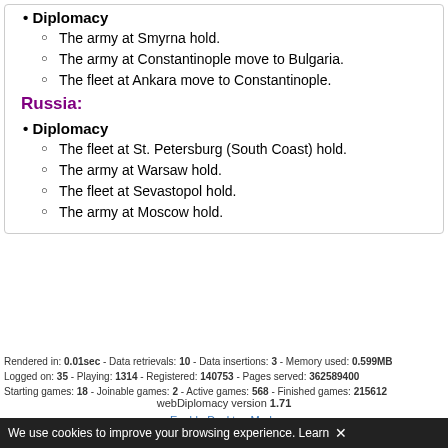Diplomacy
The army at Smyrna hold.
The army at Constantinople move to Bulgaria.
The fleet at Ankara move to Constantinople.
Russia:
Diplomacy
The fleet at St. Petersburg (South Coast) hold.
The army at Warsaw hold.
The fleet at Sevastopol hold.
The army at Moscow hold.
Rendered in: 0.01sec - Data retrievals: 10 - Data insertions: 3 - Memory used: 0.599MB
Logged on: 35 - Playing: 1314 - Registered: 140753 - Pages served: 362589400
Starting games: 18 - Joinable games: 2 - Active games: 568 - Finished games: 215612
webDiplomacy version 1.71
Enable Desktop Mode
We use cookies to improve your browsing experience. Learn